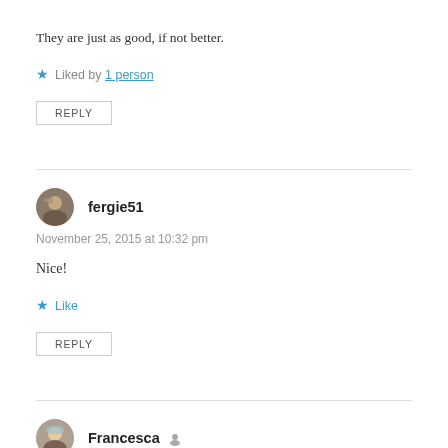They are just as good, if not better.
★ Liked by 1 person
REPLY
fergie51
November 25, 2015 at 10:32 pm
Nice!
★ Like
REPLY
Francesca